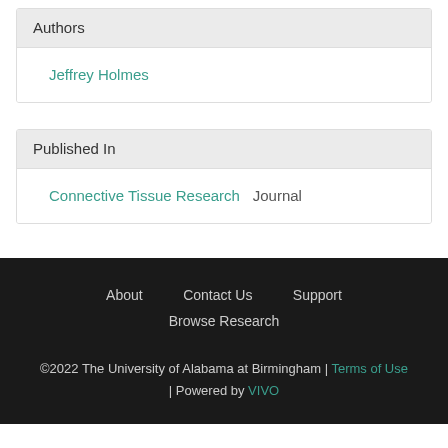Authors
Jeffrey Holmes
Published In
Connective Tissue Research  Journal
About   Contact Us   Support   Browse Research  ©2022 The University of Alabama at Birmingham | Terms of Use | Powered by VIVO